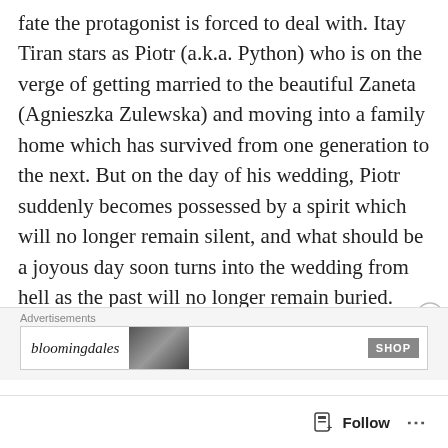fate the protagonist is forced to deal with. Itay Tiran stars as Piotr (a.k.a. Python) who is on the verge of getting married to the beautiful Zaneta (Agnieszka Zulewska) and moving into a family home which has survived from one generation to the next. But on the day of his wedding, Piotr suddenly becomes possessed by a spirit which will no longer remain silent, and what should be a joyous day soon turns into the wedding from hell as the past will no longer remain buried.
While Wrona is no longer with us, his “Demon”
[Figure (screenshot): Advertisement bar showing Bloomingdale's logo, a partial photo of a person, and a SHOP button. Close button (X in circle) visible at right.]
[Figure (screenshot): Follow bar at bottom with a bookmark/follow icon, the word Follow, and a three-dot menu icon.]